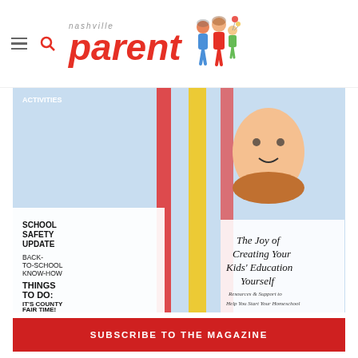nashville parent
[Figure (photo): Nashville Parent magazine cover showing a child hanging upside-down on playground equipment with text: SCHOOL SAFETY UPDATE, BACK-TO-SCHOOL KNOW-HOW, THINGS TO DO: IT'S COUNTY FAIR TIME!, The Joy of Creating Your Kids' Education Yourself, Resources & Support to Help You Start Your Homeschool]
SUBSCRIBE TO THE MAGAZINE
PAST ISSUES
[Figure (photo): Nashville Children's Theatre logo on dark navy background with 2022-2023 text in gold/yellow]